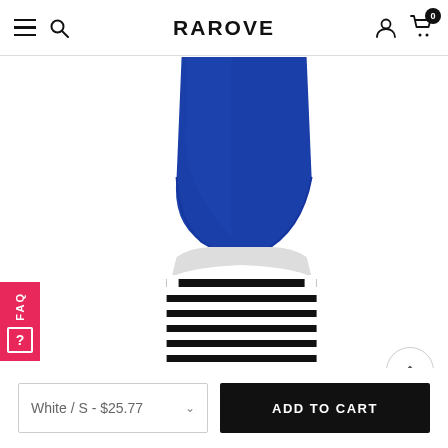RAROVE
[Figure (photo): Blue garment fabric, partial view showing curved bottom hem against white background]
[Figure (photo): Back view of a black and white horizontal striped sleeveless crop top against white background]
White / S - $25.77
ADD TO CART